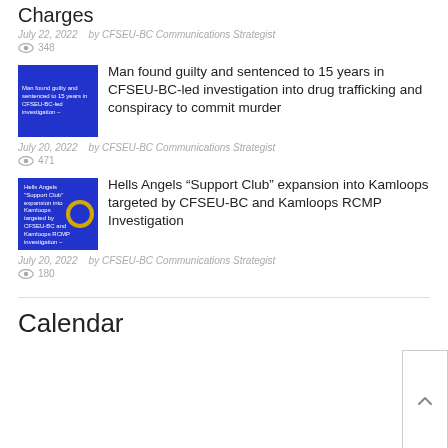Charges
July 22, 2022   by CFSEU-BC Communications Strategist
348
[Figure (photo): Thumbnail image for article about man found guilty, blue background with text]
Man found guilty and sentenced to 15 years in CFSEU-BC-led investigation into drug trafficking and conspiracy to commit murder
July 20, 2022   by CFSEU-BC Communications Strategist
471
[Figure (photo): Thumbnail image for Hells Angels Support Club article, blue background with golden circle emblem]
Hells Angels “Support Club” expansion into Kamloops targeted by CFSEU-BC and Kamloops RCMP Investigation
July 20, 2022   by CFSEU-BC Communications Strategist
180
Calendar